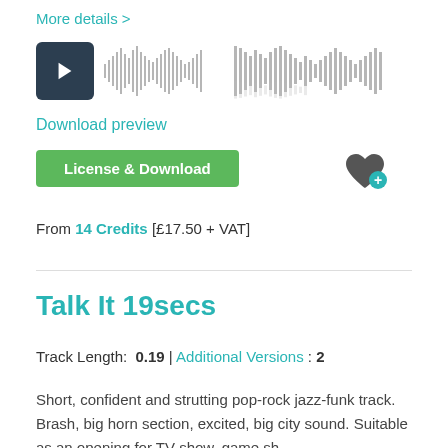More details >
[Figure (other): Audio player with play button and waveform visualization]
Download preview
License & Download
From 14 Credits [£17.50 + VAT]
Talk It 19secs
Track Length:  0.19  |  Additional Versions : 2
Short, confident and strutting pop-rock jazz-funk track. Brash, big horn section, excited, big city sound. Suitable as an opening for TV show, game sh...